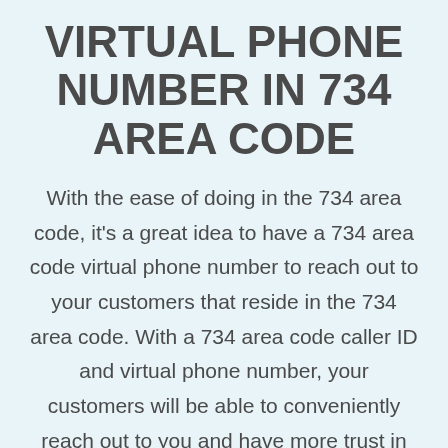VIRTUAL PHONE NUMBER IN 734 AREA CODE
With the ease of doing in the 734 area code, it's a great idea to have a 734 area code virtual phone number to reach out to your customers that reside in the 734 area code. With a 734 area code caller ID and virtual phone number, your customers will be able to conveniently reach out to you and have more trust in your business.